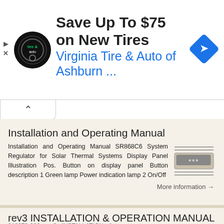[Figure (advertisement): Ad banner: Save Up To $75 on New Tires - Virginia Tire & Auto of Ashburn, with circular logo and blue diamond navigation icon]
Installation and Operating Manual
Installation and Operating Manual SR868C6 System Regulator for Solar Thermal Systems Display Panel Illustration Pos. Button on display panel Button description 1 Green lamp Power indication lamp 2 On/Off
[Figure (illustration): Small illustration of SR868C6 system regulator display panel with horizontal lines above and below]
More information →
rev3 INSTALLATION & OPERATION MANUAL OIL CIRCULATING HEATING SYSTEM MODEL OSM
216279-000   rev3   INSTALLATION   &